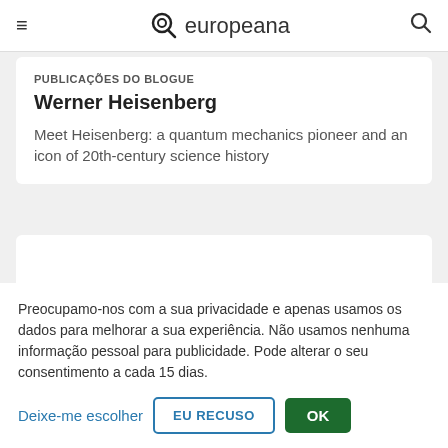≡ europeana 🔍
PUBLICAÇÕES DO BLOGUE
Werner Heisenberg
Meet Heisenberg: a quantum mechanics pioneer and an icon of 20th-century science history
Preocupamo-nos com a sua privacidade e apenas usamos os dados para melhorar a sua experiência. Não usamos nenhuma informação pessoal para publicidade. Pode alterar o seu consentimento a cada 15 dias.
Deixe-me escolher
EU RECUSO
OK